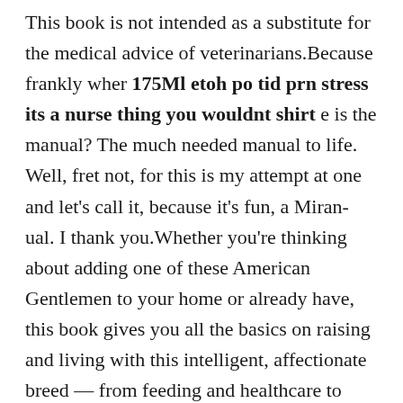This book is not intended as a substitute for the medical advice of veterinarians.Because frankly wher 175Ml etoh po tid prn stress its a nurse thing you wouldnt shirt e is the manual? The much needed manual to life. Well, fret not, for this is my attempt at one and let's call it, because it's fun, a Miran-ual. I thank you.Whether you're thinking about adding one of these American Gentlemen to your home or already have, this book gives you all the basics on raising and living with this intelligent, affectionate breed — from feeding and healthcare to basic ...In this day and age, children and young adults need every advantage they can get from their education.Abandoned by her husband, a young woman forms a profound and life-changing relationship with one of the six dogs in a rescue and